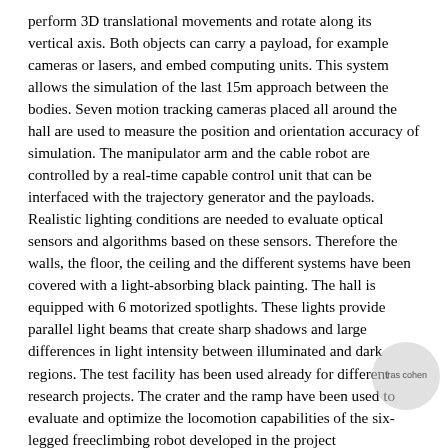perform 3D translational movements and rotate along its vertical axis. Both objects can carry a payload, for example cameras or lasers, and embed computing units. This system allows the simulation of the last 15m approach between the bodies. Seven motion tracking cameras placed all around the hall are used to measure the position and orientation accuracy of simulation. The manipulator arm and the cable robot are controlled by a real-time capable control unit that can be interfaced with the trajectory generator and the payloads. Realistic lighting conditions are needed to evaluate optical sensors and algorithms based on these sensors. Therefore the walls, the floor, the ceiling and the different systems have been covered with a light-absorbing black painting. The hall is equipped with 6 motorized spotlights. These lights provide parallel light beams that create sharp shadows and large differences in light intensity between illuminated and dark regions. The test facility has been used already for different research projects. The crater and the ramp have been used to evaluate and optimize the locomotion capabilities of the six-legged freeclimbing robot developed in the project SpaceClimber. The relative pose simulation system was developed during the project Inveritas in order to simulate